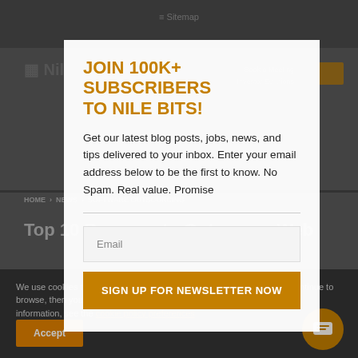JOIN 100K+ SUBSCRIBERS TO NILE BITS!
Get our latest blog posts, jobs, news, and tips delivered to your inbox. Enter your email address below to be the first to know. No Spam. Real value. Promise
Email
SIGN UP FOR NEWSLETTER NOW
We use cookies to give you the best experience on our website. If you continue to browse, then you agree to our privacy policy and cookie policy. For more information, see the
Accept